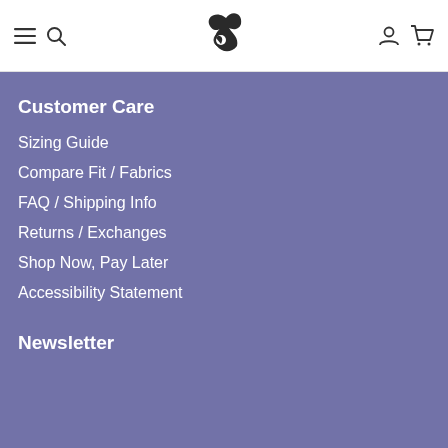Navigation bar with menu, search, logo, account, and cart icons
Customer Care
Sizing Guide
Compare Fit / Fabrics
FAQ / Shipping Info
Returns / Exchanges
Shop Now, Pay Later
Accessibility Statement
Newsletter